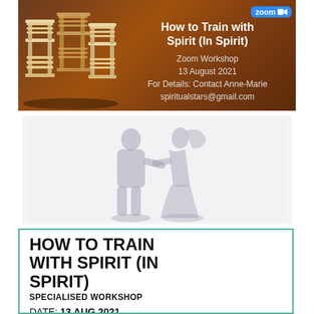[Figure (illustration): Promotional banner for a Zoom Workshop titled 'How to Train with Spirit (In Spirit)'. Dark brown/amber background with illustrated wooden chairs on the left side. Text on the right: title in bold white, 'Zoom Workshop', '13 August 2021', 'For Details: Contact Anne-Marie', 'spiritualstars@gmail.com'. Zoom logo badge in top right corner.]
[Figure (photo): Faded gray shadow/silhouette image of two human figures — one standing upright (male) and one leaning toward the other (female), appearing ghostly or spirit-like against a light background.]
HOW TO TRAIN WITH SPIRIT (IN SPIRIT)
SPECIALISED WORKSHOP
DATE: 13 AUG 2021